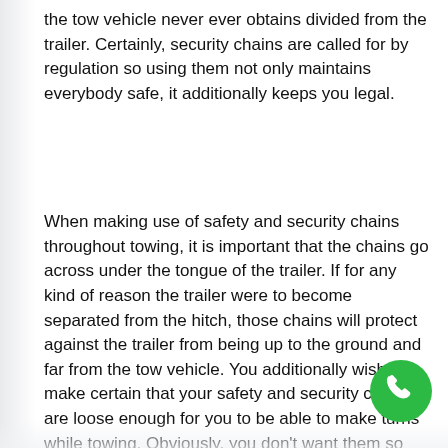the tow vehicle never ever obtains divided from the trailer. Certainly, security chains are called for by regulation so using them not only maintains everybody safe, it additionally keeps you legal.
When making use of safety and security chains throughout towing, it is important that the chains go across under the tongue of the trailer. If for any kind of reason the trailer were to become separated from the hitch, those chains will protect against the trailer from being up to the ground and far from the tow vehicle. You additionally wish to make certain that your safety and security chains are loose enough for you to be able to make turns while towing. Obviously, you don't want them so loose that they drop out the ground since that
[Figure (other): Green circular phone/call button icon in the bottom-right corner]